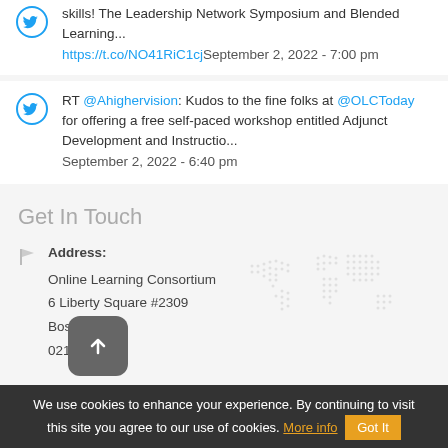skills! The Leadership Network Symposium and Blended Learning... https://t.co/NO41RiC1cjSeptember 2, 2022 - 7:00 pm
RT @Ahighervision: Kudos to the fine folks at @OLCToday for offering a free self-paced workshop entitled Adjunct Development and Instructio... September 2, 2022 - 6:40 pm
Get In Touch
Address: Online Learning Consortium 6 Liberty Square #2309 Boston, MA 02109
We use cookies to enhance your experience. By continuing to visit this site you agree to our use of cookies. More info Got It